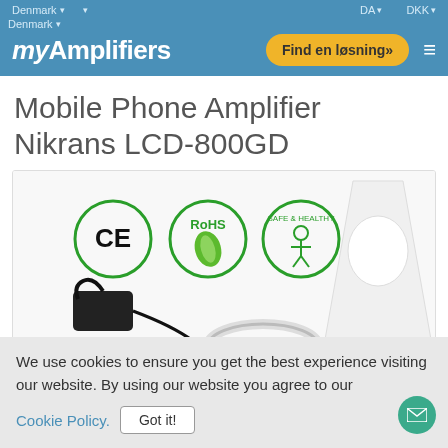Denmark ▾   DA ▾   DKK ▾
myAmplifiers — Find en løsning» ≡
Mobile Phone Amplifier Nikrans LCD-800GD
[Figure (photo): Product photo of Nikrans LCD-800GD mobile phone amplifier with CE, RoHS, and Safe & Healthy certification badges visible. Shows the amplifier unit, antenna, power adapter cable, and circular indoor antenna.]
We use cookies to ensure you get the best experience visiting our website. By using our website you agree to our Cookie Policy. Got it!